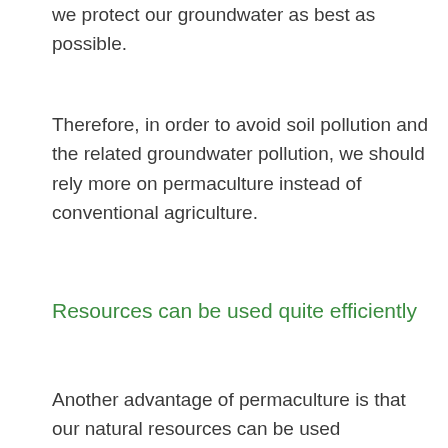we protect our groundwater as best as possible.
Therefore, in order to avoid soil pollution and the related groundwater pollution, we should rely more on permaculture instead of conventional agriculture.
Resources can be used quite efficiently
Another advantage of permaculture is that our natural resources can be used